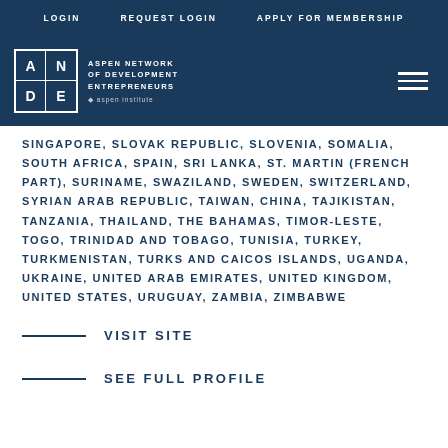LOGIN   REQUEST LOGIN   APPLY FOR MEMBERSHIP
[Figure (logo): ANDE - Aspen Network of Development Entrepreneurs / Aspen Institute logo on dark navy background with hamburger menu]
SINGAPORE, SLOVAK REPUBLIC, SLOVENIA, SOMALIA, SOUTH AFRICA, SPAIN, SRI LANKA, ST. MARTIN (FRENCH PART), SURINAME, SWAZILAND, SWEDEN, SWITZERLAND, SYRIAN ARAB REPUBLIC, TAIWAN, CHINA, TAJIKISTAN, TANZANIA, THAILAND, THE BAHAMAS, TIMOR-LESTE, TOGO, TRINIDAD AND TOBAGO, TUNISIA, TURKEY, TURKMENISTAN, TURKS AND CAICOS ISLANDS, UGANDA, UKRAINE, UNITED ARAB EMIRATES, UNITED KINGDOM, UNITED STATES, URUGUAY, ZAMBIA, ZIMBABWE
VISIT SITE
SEE FULL PROFILE